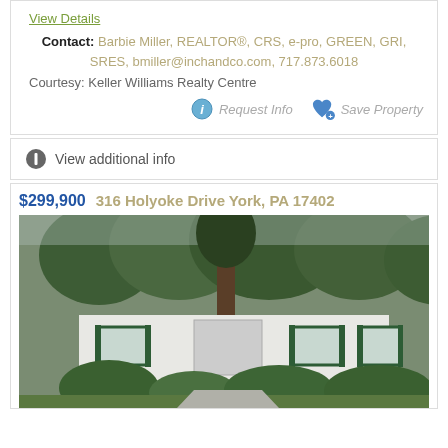View Details
Contact: Barbie Miller, REALTOR®, CRS, e-pro, GREEN, GRI, SRES, bmiller@inchandco.com, 717.873.6018
Courtesy: Keller Williams Realty Centre
Request Info  Save Property
View additional info
$299,900  316 Holyoke Drive York, PA 17402
[Figure (photo): Exterior photo of a single-story ranch-style house with white siding, green shutters, and surrounded by large trees and green shrubs]